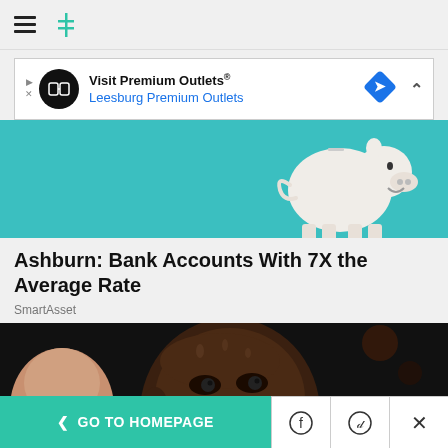HuffPost navigation header
[Figure (screenshot): Advertisement banner for Visit Premium Outlets / Leesburg Premium Outlets with logo, diamond direction sign icon, and close button]
[Figure (photo): White piggy bank on teal/turquoise background]
Ashburn: Bank Accounts With 7X the Average Rate
SmartAsset
[Figure (photo): Close-up photo of a sweating bald Black man in a dark indoor setting, possibly a boxing or sports arena]
< GO TO HOMEPAGE | Facebook share | Twitter share | Close